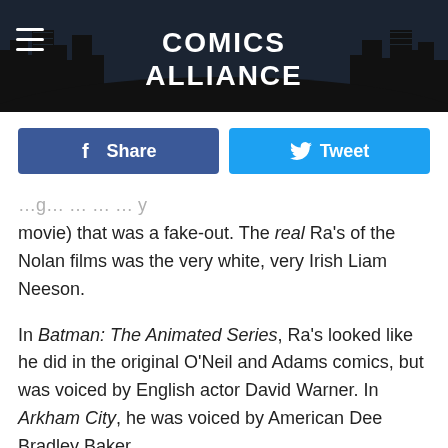COMICS ALLIANCE
Share
Tweet
movie) that was a fake-out. The real Ra's of the Nolan films was the very white, very Irish Liam Neeson.
In Batman: The Animated Series, Ra's looked like he did in the original O'Neil and Adams comics, but was voiced by English actor David Warner. In Arkham City, he was voiced by American Dee Bradley Baker.
One notable exception to the extra-comics whitewashing of Ra's al Ghul is Young Justice, the Warner Bros. Animation series in which Ra's was voiced by Israeli actor Oded Fehr. African-American actor Lance Reddick voiced the character on WB's Beware the Batman.